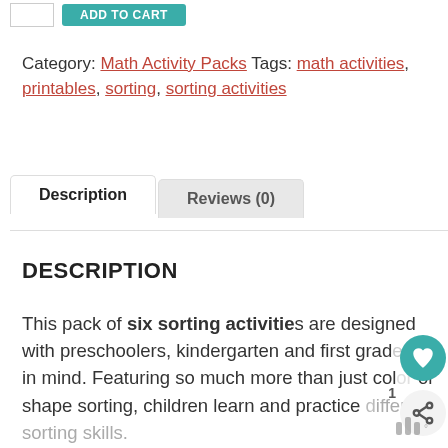Category: Math Activity Packs Tags: math activities, printables, sorting, sorting activities
Description | Reviews (0)
DESCRIPTION
This pack of six sorting activities are designed with preschoolers, kindergarten and first graders in mind. Featuring so much more than just color or shape sorting, children learn and practice different sorting skills.